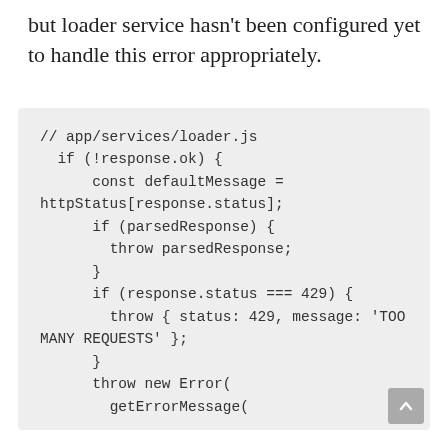but loader service hasn't been configured yet to handle this error appropriately.
[Figure (screenshot): Code block showing JavaScript snippet from app/services/loader.js with error handling logic including checks for !response.ok, parsedResponse, response.status === 429, and throw new Error with getErrorMessage call.]